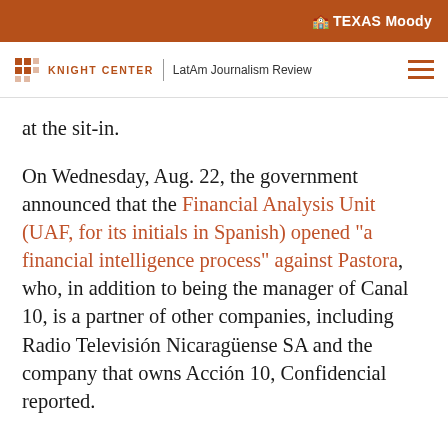🏛 TEXAS Moody
KNIGHT CENTER | LatAm Journalism Review
at the sit-in.
On Wednesday, Aug. 22, the government announced that the Financial Analysis Unit (UAF, for its initials in Spanish) opened "a financial intelligence process" against Pastora, who, in addition to being the manager of Canal 10, is a partner of other companies, including Radio Televisión Nicaragüense SA and the company that owns Acción 10, Confidencial reported.